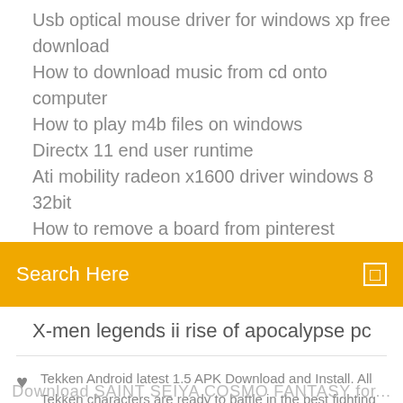Usb optical mouse driver for windows xp free download
How to download music from cd onto computer
How to play m4b files on windows
Directx 11 end user runtime
Ati mobility radeon x1600 driver windows 8 32bit
How to remove a board from pinterest
[Figure (screenshot): Orange search bar with text 'Search Here' and a small box icon on the right]
X-men legends ii rise of apocalypse pc
Tekken Android latest 1.5 APK Download and Install. All Tekken characters are ready to battle in the best fighting game ever
[Figure (infographic): Social sharing icons: Facebook, Twitter, a circular icon, and Behance]
Download SAINT SEIYA COSMO FANTASY for...